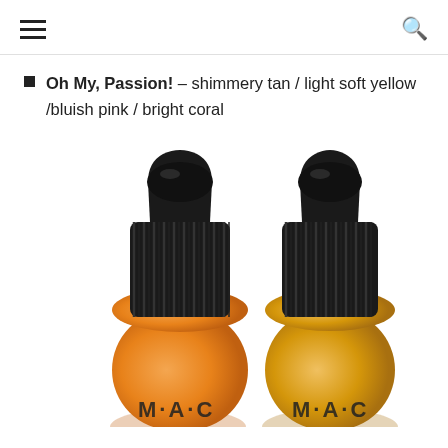☰   🔍
Oh My, Passion! – shimmery tan / light soft yellow /bluish pink / bright coral
[Figure (photo): Two MAC cosmetic bottles with black ribbed caps. Left bottle is orange/coral colored, right bottle is golden/tan colored. Both show partial MAC branding at the bottom.]